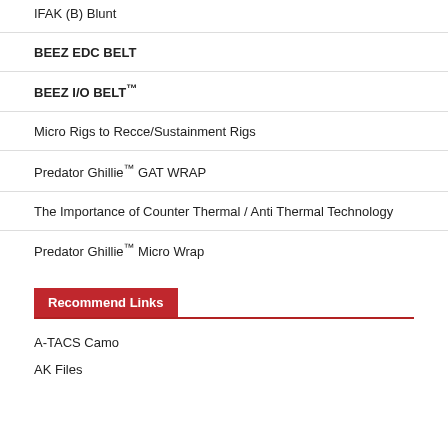IFAK (B) Blunt
BEEZ EDC BELT
BEEZ I/O BELT™
Micro Rigs to Recce/Sustainment Rigs
Predator Ghillie™ GAT WRAP
The Importance of Counter Thermal / Anti Thermal Technology
Predator Ghillie™ Micro Wrap
Recommend Links
A-TACS Camo
AK Files